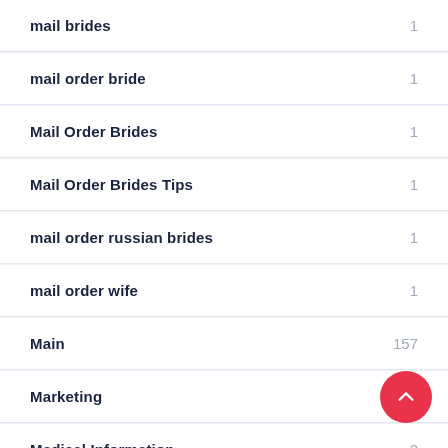mail brides	1
mail order bride	1
Mail Order Brides	1
Mail Order Brides Tips	1
mail order russian brides	1
mail order wife	1
Main	157
Marketing
Medical Information	2